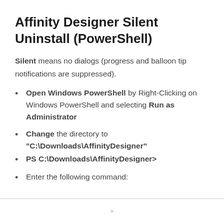Affinity Designer Silent Uninstall (PowerShell)
Silent means no dialogs (progress and balloon tip notifications are suppressed).
Open Windows PowerShell by Right-Clicking on Windows PowerShell and selecting Run as Administrator
Change the directory to “C:\Downloads\AffinityDesigner”
PS C:\Downloads\AffinityDesigner>
Enter the following command: